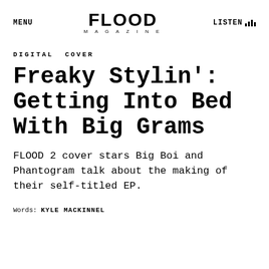MENU | FLOOD MAGAZINE | LISTEN
DIGITAL COVER
Freaky Stylin': Getting Into Bed With Big Grams
FLOOD 2 cover stars Big Boi and Phantogram talk about the making of their self-titled EP.
Words: KYLE MACKINNEL